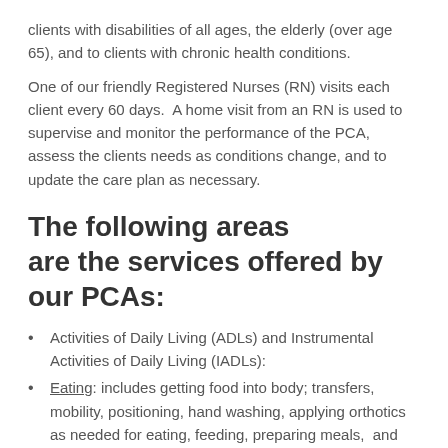clients with disabilities of all ages, the elderly (over age 65), and to clients with chronic health conditions.
One of our friendly Registered Nurses (RN) visits each client every 60 days.  A home visit from an RN is used to supervise and monitor the performance of the PCA, assess the clients needs as conditions change, and to update the care plan as necessary.
The following areas are the services offered by our PCAs:
Activities of Daily Living (ADLs) and Instrumental Activities of Daily Living (IADLs):
Eating: includes getting food into body; transfers, mobility, positioning, hand washing, applying orthotics as needed for eating, feeding, preparing meals,  and grocery shopping.
Grooming: Includes hair care/nail care/oral care; shave.  Assist